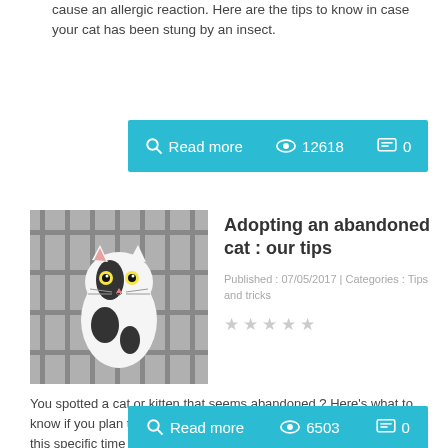cause an allergic reaction. Here are the tips to know in case your cat has been stung by an insect.
[Figure (infographic): Teal/cyan action bar with Read more, 12618 views, 0 comments]
[Figure (photo): Black and white cat peering through cage bars]
Adopting an abandoned cat : our tips
Published : 07/05/2017 | Categories : Tips and tricks
You spotted a cat or kitten that seems abandoned ? Here's what to know if you plan to take care of it and adopt it. Be aware that during this specific time of the year, you may come across some cats which may seem to be abandoned, whether you are on holidays or at your work place. If this happens to you, here are some tips on how you can react.
[Figure (infographic): Teal/cyan action bar with Read more, 6503 views, 0 comments]